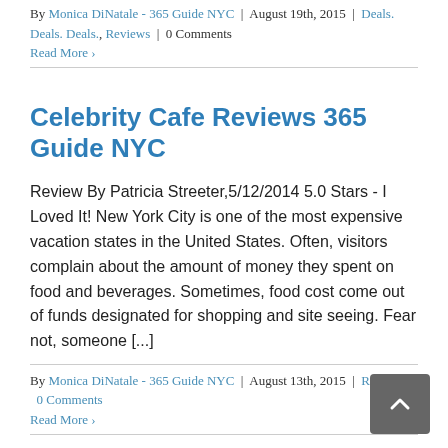By Monica DiNatale - 365 Guide NYC | August 19th, 2015 | Deals. Deals. Deals., Reviews | 0 Comments
Read More >
Celebrity Cafe Reviews 365 Guide NYC
Review By Patricia Streeter,5/12/2014 5.0 Stars - I Loved It! New York City is one of the most expensive vacation states in the United States. Often, visitors complain about the amount of money they spent on food and beverages. Sometimes, food cost come out of funds designated for shopping and site seeing. Fear not, someone [...]
By Monica DiNatale - 365 Guide NYC | August 13th, 2015 | Reviews | 0 Comments
Read More >